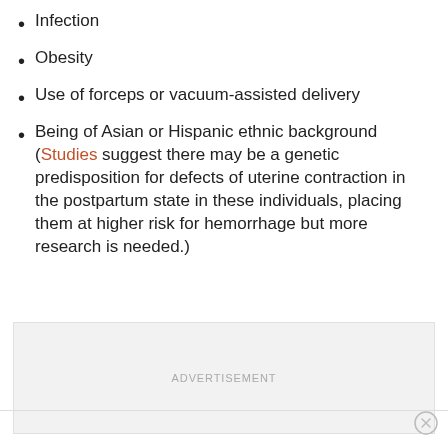Infection
Obesity
Use of forceps or vacuum-assisted delivery
Being of Asian or Hispanic ethnic background (Studies suggest there may be a genetic predisposition for defects of uterine contraction in the postpartum state in these individuals, placing them at higher risk for hemorrhage but more research is needed.)